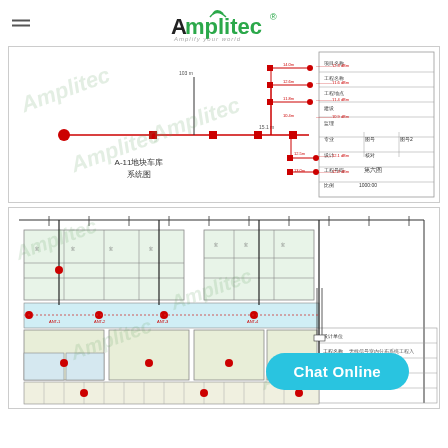Amplitec — Amplify your world
[Figure (engineering-diagram): A-11 parking system schematic diagram (系统图) showing signal distribution network with red lines, splitters, and a table on the right side with Chinese text labels]
[Figure (engineering-diagram): Floor plan layout diagram showing building rooms, corridors, red dot antenna placements, cable routing, and engineering reference table on the right. Chat Online button overlay at bottom right.]